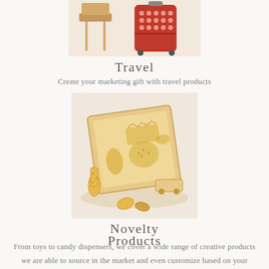[Figure (photo): Partial view of luggage/travel products including a red polka-dot suitcase and a chair with wooden legs at the top of the page]
Travel
Create your marketing gift with travel products
[Figure (photo): Wooden animal puzzle pieces arranged around a wooden tray puzzle board, featuring a giraffe, an elephant, and other animal shapes cut from light-colored wood]
Novelty
Products
From toys to candy dispensers, we cover a wide range of creative products we are able to source in the market and even customize based on your